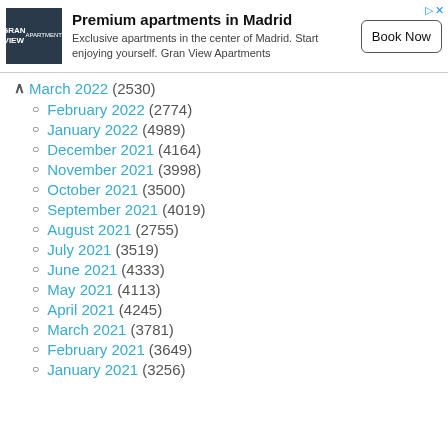[Figure (screenshot): Advertisement banner for Gran View Apartments - Premium apartments in Madrid with Book Now button]
March 2022 (2530)
February 2022 (2774)
January 2022 (4989)
December 2021 (4164)
November 2021 (3998)
October 2021 (3500)
September 2021 (4019)
August 2021 (2755)
July 2021 (3519)
June 2021 (4333)
May 2021 (4113)
April 2021 (4245)
March 2021 (3781)
February 2021 (3649)
January 2021 (3256)